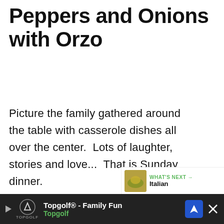Peppers and Onions with Orzo
Picture the family gathered around the table with casserole dishes all over the center.  Lots of laughter, stories and love...  That is Sunday dinner.
[Figure (infographic): UI overlay with heart/like button (green circle with heart icon), count '3', and share button (white circle with share icon)]
[Figure (infographic): What's Next banner showing a food thumbnail image and the text 'WHAT'S NEXT → Italian']
[Figure (infographic): Advertisement bar at bottom: Topgolf play button, Topgolf logo, 'Topgolf® - Family Fun' text, navigation icon, close X button]